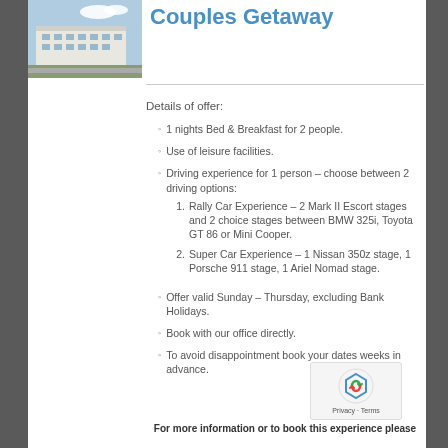[Figure (photo): Photo of a hotel building exterior with parking lot and blue sky]
Couples Getaway
Details of offer:
1 nights Bed & Breakfast for 2 people.
Use of leisure facilities.
Driving experience for 1 person – choose between 2 driving options:
1. Rally Car Experience – 2 Mark II Escort stages and 2 choice stages between BMW 325i, Toyota GT 86 or Mini Cooper.
2. Super Car Experience – 1 Nissan 350z stage, 1 Porsche 911 stage, 1 Ariel Nomad stage.
Offer valid Sunday – Thursday, excluding Bank Holidays.
Book with our office directly.
To avoid disappointment book your dates weeks in advance.
For more information or to book this experience please